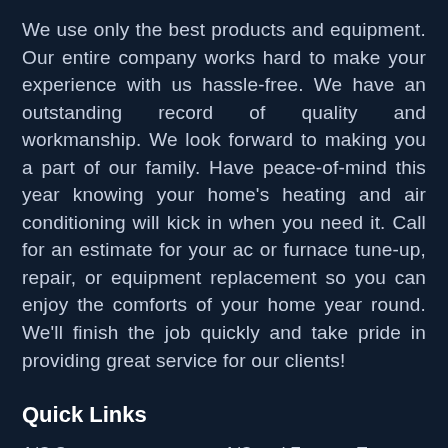We use only the best products and equipment. Our entire company works hard to make your experience with us hassle-free. We have an outstanding record of quality and workmanship. We look forward to making you a part of our family. Have peace-of-mind this year knowing your home's heating and air conditioning will kick in when you need it. Call for an estimate for your ac or furnace tune-up, repair, or equipment replacement so you can enjoy the comforts of your home year round. We'll finish the job quickly and take pride in providing great service for our clients!
Quick Links
A/C System Installation
A/C and Furnace Tune-Up